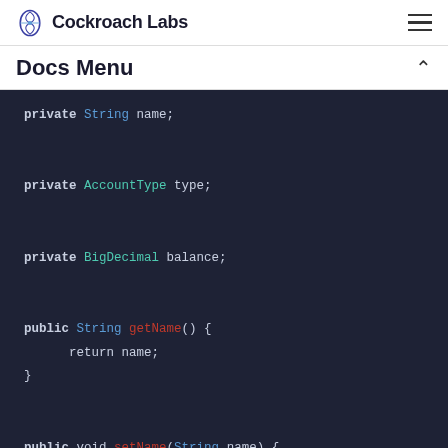Cockroach Labs
Docs Menu
[Figure (screenshot): Java code snippet showing class fields and methods: private String name; private AccountType type; private BigDecimal balance; public String getName() { return name; } public void setName(String name) { this.name = name; }]